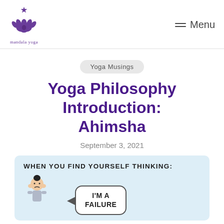mandala yoga | Menu
Yoga Musings
Yoga Philosophy Introduction: Ahimsha
September 3, 2021
[Figure (illustration): Comic illustration with light blue background. Text reads 'WHEN YOU FIND YOURSELF THINKING:' with a cartoon character and a speech bubble saying 'I'M A FAILURE']